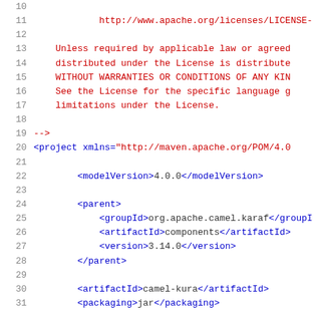Source code listing lines 10-31 of a Maven POM XML file with Apache License header